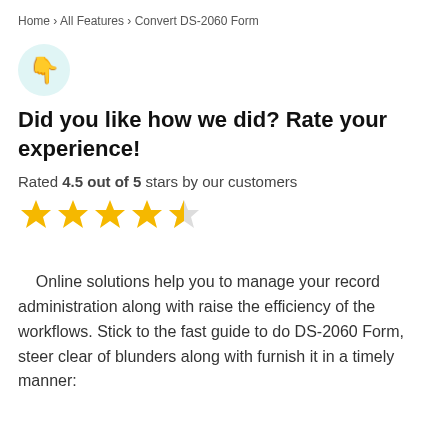Home › All Features › Convert DS-2060 Form
[Figure (illustration): Thumbs down emoji icon inside a light teal circle]
Did you like how we did? Rate your experience!
Rated 4.5 out of 5 stars by our customers
[Figure (other): 4.5 out of 5 star rating shown as four full gold stars and one half gold star]
Online solutions help you to manage your record administration along with raise the efficiency of the workflows. Stick to the fast guide to do DS-2060 Form, steer clear of blunders along with furnish it in a timely manner: